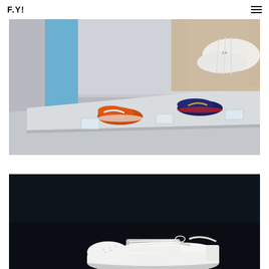F.Y!
[Figure (photo): Interior of a sneaker exhibition space showing a curved display table with Nike Air Force 1 sneakers in orange and navy colorways displayed on it, with a person holding a white sneaker above, reflection in mirror visible, blue walls in background.]
[Figure (photo): Close-up photo of a white Nike Air Force 1 sneaker against a dark/black background, showing the sole and side profile of the shoe.]